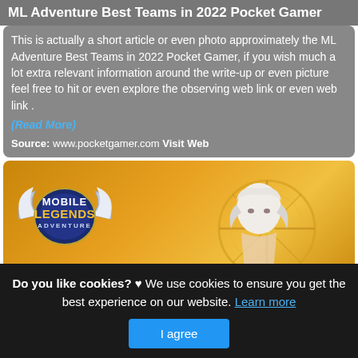ML Adventure Best Teams in 2022 Pocket Gamer
This is actually a short article or even photo approximately the ML Adventure Best Teams in 2022 Pocket Gamer, if you wish much a lot extra relevant information around the write-up or even picture feel free to hit or even explore the observing web link or even web link .
(Read More)
Source: www.pocketgamer.com Visit Web
[Figure (photo): Mobile Legends Adventure game banner with logo on golden background featuring a white-haired character and decorative compass/gear elements]
Do you like cookies? ♥ We use cookies to ensure you get the best experience on our website. Learn more
I agree